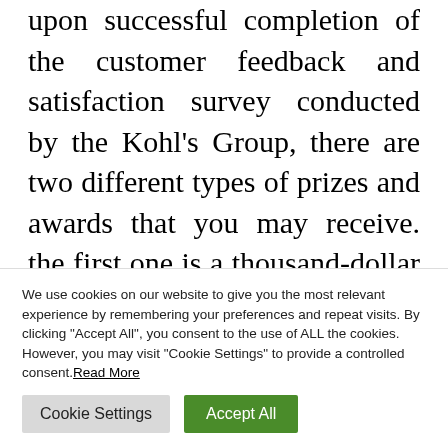upon successful completion of the customer feedback and satisfaction survey conducted by the Kohl's Group, there are two different types of prizes and awards that you may receive. the first one is a thousand-dollar gift voucher that you will be able to redeem at any Kohl's store in the whole United States of America. however, you will have to keep in mind that this gift voucher will be 100% non-
We use cookies on our website to give you the most relevant experience by remembering your preferences and repeat visits. By clicking "Accept All", you consent to the use of ALL the cookies. However, you may visit "Cookie Settings" to provide a controlled consent. Read More